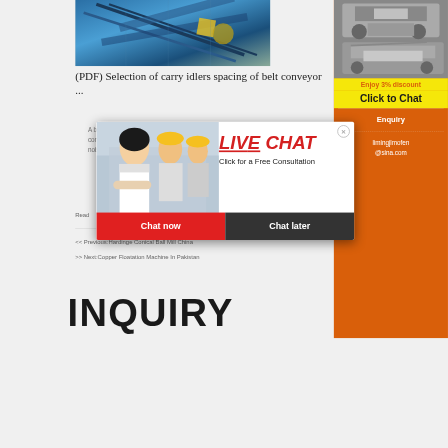[Figure (photo): Aerial/overhead view of blue industrial belt conveyor machinery on a construction or mining site]
(PDF) Selection of carry idlers spacing of belt conveyor ...
A belt conveyor system may contain thou idler rolls. Any failure of the rolls will cause ex consu noise
Read
<< Previous:Hardinge Conical Ball Mill China
>> Next:Copper Floatation Machine In Pakistan
[Figure (photo): Live chat popup overlay showing woman and workers in hard hats with LIVE CHAT text and Chat now / Chat later buttons]
[Figure (photo): Orange sidebar with industrial machinery images, Enjoy 3% discount / Click to Chat banner, Enquiry section, and email limingjlmofen@sina.com]
INQUIRY